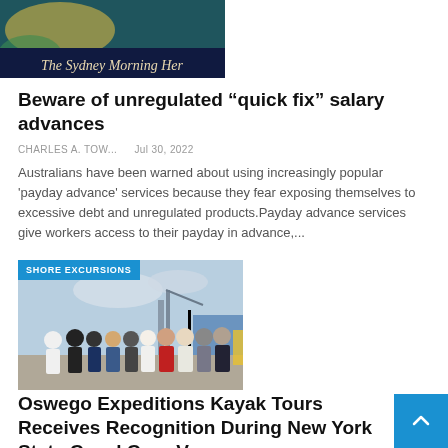[Figure (screenshot): Partial image of The Sydney Morning Herald newspaper/website header with dark blue background and gothic font text 'The Sydney Morning Her...']
Beware of unregulated “quick fix” salary advances
CHARLES A. TOW...   Jul 30, 2022
Australians have been warned about using increasingly popular 'payday advance' services because they fear exposing themselves to excessive debt and unregulated products.Payday advance services give workers access to their payday in advance,...
[Figure (photo): Group photo of people standing outdoors near a marina/dock area with boats and cranes in background. A blue badge reads 'SHORE EXCURSIONS' in the upper left.]
Oswego Expeditions Kayak Tours Receives Recognition During New York State Canal Corp V—...